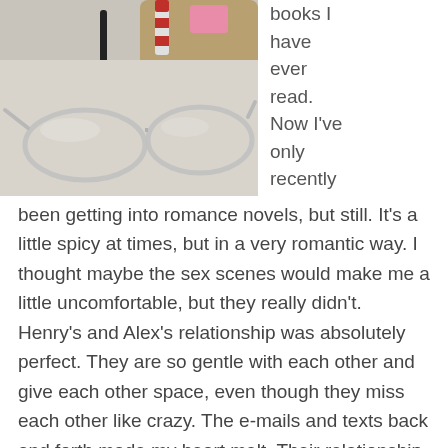[Figure (photo): Overhead photo of clear cat-eye glasses frames on a light surface, with a black pen/mascara and wooden objects and a pink eraser visible at the top]
books I have ever read. Now I've only recently been getting into romance novels, but still. It's a little spicy at times, but in a very romantic way. I thought maybe the sex scenes would make me a little uncomfortable, but they really didn't. Henry's and Alex's relationship was absolutely perfect. They are so gentle with each other and give each other space, even though they miss each other like crazy. The e-mails and texts back and forth made my heart melt. Their relationship is definitely swoon-worthy.
“Thinking about history makes me wonder how I’ll fit into it one day, I guess. And you too,